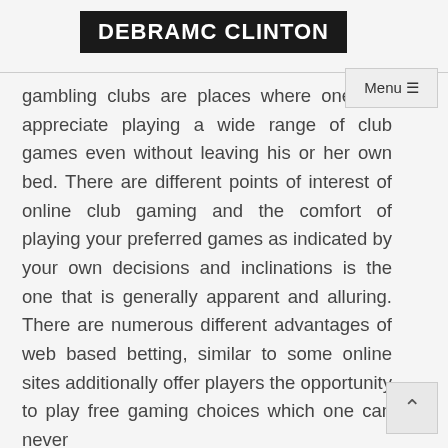DEBRAMC CLINTON
gambling clubs are places where one can appreciate playing a wide range of club games even without leaving his or her own bed. There are different points of interest of online club gaming and the comfort of playing your preferred games as indicated by your own decisions and inclinations is the one that is generally apparent and alluring. There are numerous different advantages of web based betting, similar to some online sites additionally offer players the opportunity to play free gaming choices which one can never